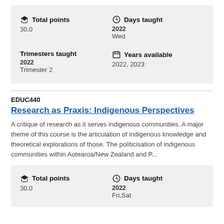Total points
30.0
Days taught
2022
Wed
Trimesters taught
2022
Trimester 2
Years available
2022, 2023
EDUC440
Research as Praxis: Indigenous Perspectives
A critique of research as it serves indigenous communities. A major theme of this course is the articulation of indigenous knowledge and theoretical explorations of those. The politicisation of indigenous communities within Aotearoa/New Zealand and P...
Total points
30.0
Days taught
2022
Fri,Sat